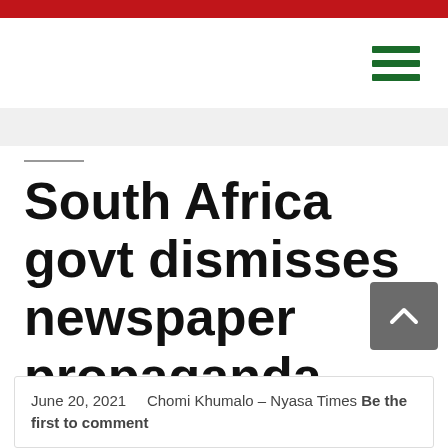South Africa govt dismisses newspaper propaganda against Bushiri: ‘He can’t risk to come to SA’
June 20, 2021   Chomi Khumalo – Nyasa Times Be the first to comment